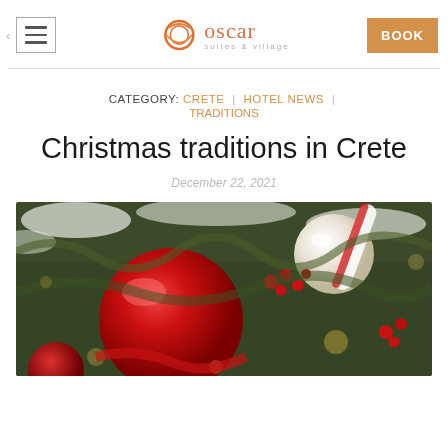Oscar Suites & Village — BOOK
CATEGORY: CRETE | HOTEL NEWS | TRADITIONS
Christmas traditions in Crete
December 22, 2021
[Figure (photo): Close-up of Christmas ornaments on a decorated tree: a large red ball ornament in the foreground, a white ornament and candy-cane striped ribbon in the upper right, red berries and gold/silver pine branches dusted with snow in the background.]